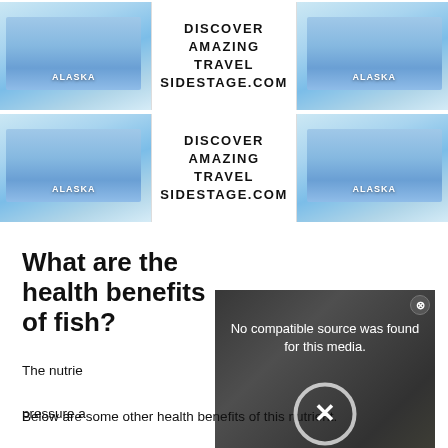[Figure (screenshot): Two advertisement banners side by side, each showing Alaska glacier imagery with text 'DISCOVER AMAZING TRAVEL SIDESTAGE.COM']
What are the health benefits of fish?
The nutrie... pressure a... heart atta... healthy. T... fish, this m...
[Figure (screenshot): Video player overlay showing a chef in a kitchen with error message 'No compatible source was found for this media.' and an X button]
Below are some other health benefits of this nutrient.